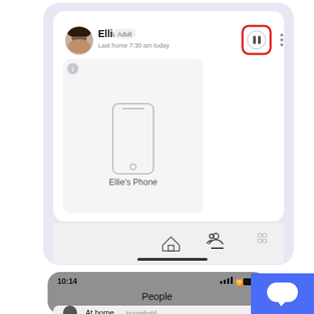[Figure (screenshot): Mobile app screenshot showing a family member profile card for 'Ellie' (Adult), with 'Last home 7:30 am today', a pause button highlighted with a red border, three-dot menu, a device card for 'Ellie's Phone' with a phone outline icon, and a bottom navigation bar with home, people (selected), and grid icons, plus a home indicator bar.]
[Figure (screenshot): Partial mobile app screenshot showing 'People' screen with status bar showing 10:14, signal bars, wifi, and battery icons. Shows 'At home' row with Household label partially visible at bottom. Blue chat support button overlay in bottom right.]